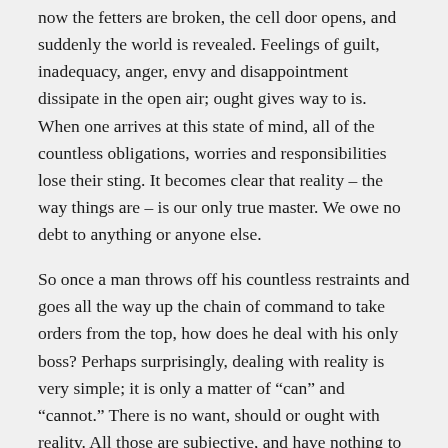now the fetters are broken, the cell door opens, and suddenly the world is revealed. Feelings of guilt, inadequacy, anger, envy and disappointment dissipate in the open air; ought gives way to is. When one arrives at this state of mind, all of the countless obligations, worries and responsibilities lose their sting. It becomes clear that reality – the way things are – is our only true master. We owe no debt to anything or anyone else.
So once a man throws off his countless restraints and goes all the way up the chain of command to take orders from the top, how does he deal with his only boss? Perhaps surprisingly, dealing with reality is very simple; it is only a matter of “can” and “cannot.” There is no want, should or ought with reality. All those are subjective, and have nothing to do with the sun setting or things falling when dropped. A man who has a good idea of what he can do has a great deal of advantage, while those who can’t first think